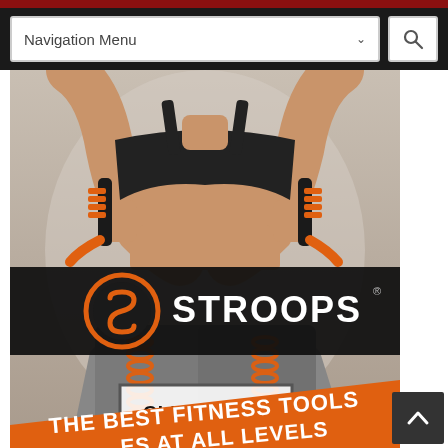Navigation Menu
[Figure (photo): Woman in black sports bra and gray leggings holding orange Stroops resistance band handles, with orange coiled resistance bands visible. Stroops logo band overlaid in center. Click Here button overlay. Orange diagonal banner at bottom reading THE BEST FITNESS TOOLS AT ALL LEVELS.]